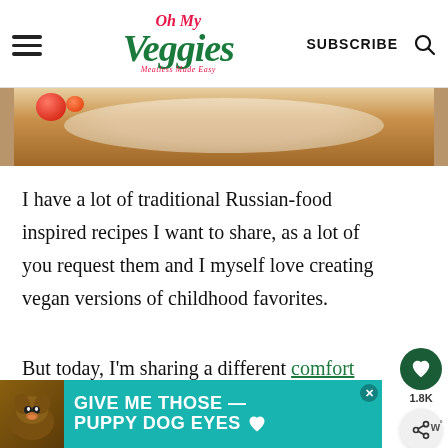Oh My Veggies – SUBSCRIBE
[Figure (photo): Partial food photo showing a plate with cooked food and tomatoes, cropped at top of page]
I have a lot of traditional Russian-food inspired recipes I want to share, as a lot of you request them and I myself love creating vegan versions of childhood favorites.
But today, I'm sharing a different comfort food classic that many of us are familiar with. Which is this easy vegan potato
[Figure (infographic): Advertisement banner: teal background with dog image and text reading GIVE ME THOSE PUPPY DOG EYES with heart icon]